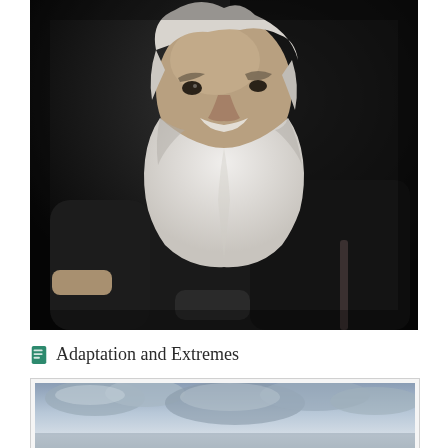[Figure (photo): Black and white portrait photograph of an elderly bearded man (Charles Darwin) seated, wearing a dark coat, facing slightly left, with white beard and receding hair, against a dark background.]
Adaptation and Extremes
[Figure (photo): Partial view of a landscape photograph showing a cloudy sky, visible at the bottom of the page within a framed box.]